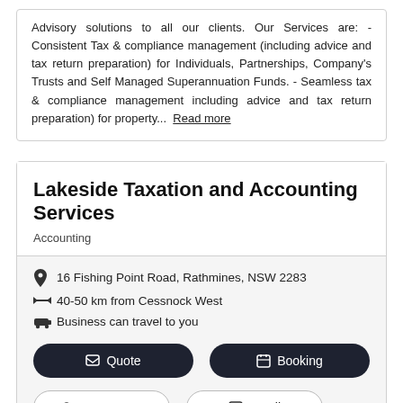Advisory solutions to all our clients. Our Services are: - Consistent Tax & compliance management (including advice and tax return preparation) for Individuals, Partnerships, Company's Trusts and Self Managed Superannuation Funds. - Seamless tax & compliance management including advice and tax return preparation) for property... Read more
Lakeside Taxation and Accounting Services
Accounting
16 Fishing Point Road, Rathmines, NSW 2283
40-50 km from Cessnock West
Business can travel to you
Quote
Booking
Contact me
Email